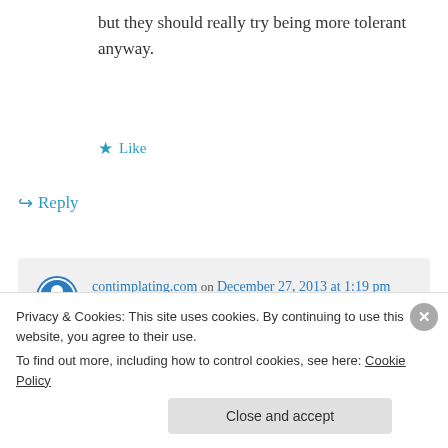but they should really try being more tolerant anyway.
★ Like
↪ Reply
contimplating.com on December 27, 2013 at 1:19 pm
ha! I know, right? It's like they don't drink a liquid if it's white. How closed-minded is
Privacy & Cookies: This site uses cookies. By continuing to use this website, you agree to their use.
To find out more, including how to control cookies, see here: Cookie Policy